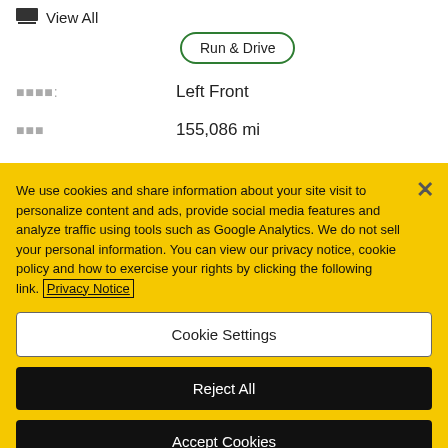View All
Run & Drive
운전석: Left Front
주행거리 155,086 mi
We use cookies and share information about your site visit to personalize content and ads, provide social media features and analyze traffic using tools such as Google Analytics. We do not sell your personal information. You can view our privacy notice, cookie policy and how to exercise your rights by clicking the following link. Privacy Notice
Cookie Settings
Reject All
Accept Cookies